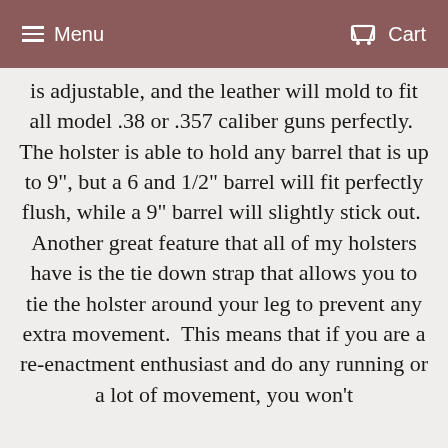Menu  Cart
is adjustable, and the leather will mold to fit all model .38 or .357 caliber guns perfectly.  The holster is able to hold any barrel that is up to 9", but a 6 and 1/2" barrel will fit perfectly flush, while a 9" barrel will slightly stick out.  Another great feature that all of my holsters have is the tie down strap that allows you to tie the holster around your leg to prevent any extra movement.  This means that if you are a re-enactment enthusiast and do any running or a lot of movement, you won't